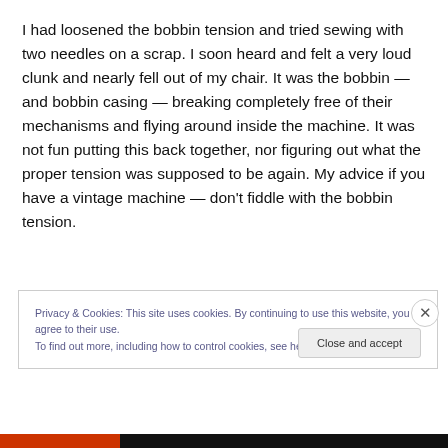I had loosened the bobbin tension and tried sewing with two needles on a scrap. I soon heard and felt a very loud clunk and nearly fell out of my chair. It was the bobbin — and bobbin casing — breaking completely free of their mechanisms and flying around inside the machine. It was not fun putting this back together, nor figuring out what the proper tension was supposed to be again. My advice if you have a vintage machine — don't fiddle with the bobbin tension.
Privacy & Cookies: This site uses cookies. By continuing to use this website, you agree to their use. To find out more, including how to control cookies, see here: Cookie Policy
Close and accept